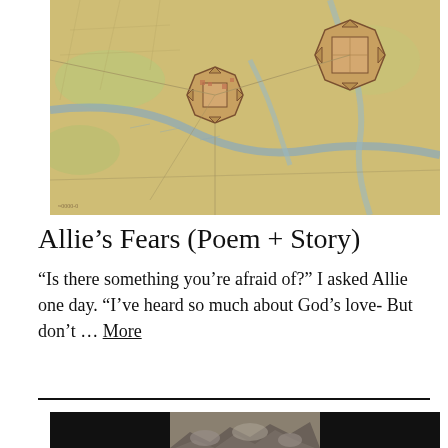[Figure (map): Old historical map showing fortified settlements, waterways, fields and roads in a bird's-eye-view style with muted earth tones and hand-drawn cartographic detail.]
Allie’s Fears (Poem + Story)
“Is there something you’re afraid of?” I asked Allie one day. “I’ve heard so much about God’s love- But don’t … More
[Figure (photo): Photograph of rocky rubble or ruins, partially framed by black on the sides, showing pale stone debris.]